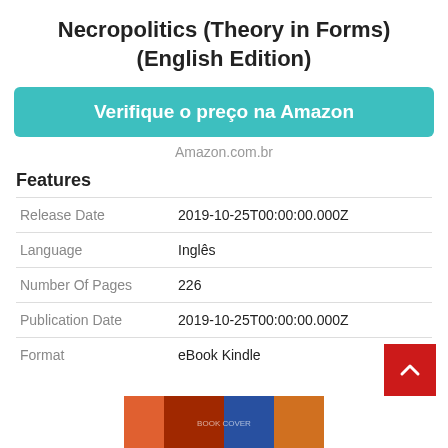Necropolitics (Theory in Forms) (English Edition)
Verifique o preço na Amazon
Amazon.com.br
Features
|  |  |
| --- | --- |
| Release Date | 2019-10-25T00:00:00.000Z |
| Language | Inglês |
| Number Of Pages | 226 |
| Publication Date | 2019-10-25T00:00:00.000Z |
| Format | eBook Kindle |
[Figure (photo): Book cover image at bottom of page]